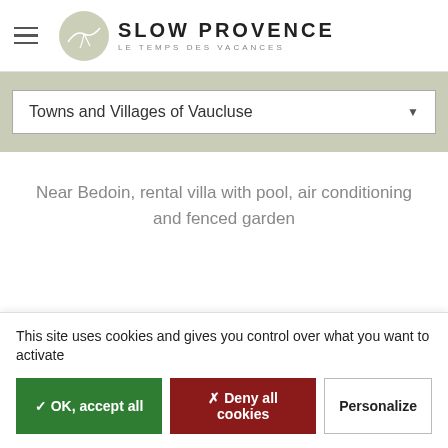SLOW PROVENCE — LE TEMPS DES VACANCES
Towns and Villages of Vaucluse
Near Bedoin, rental villa with pool, air conditioning and fenced garden
This site uses cookies and gives you control over what you want to activate
✓ OK, accept all
✗ Deny all cookies
Personalize